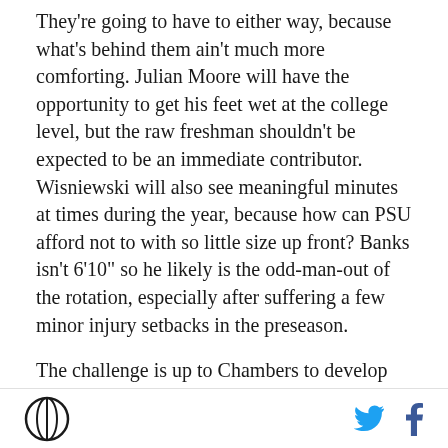They're going to have to either way, because what's behind them ain't much more comforting. Julian Moore will have the opportunity to get his feet wet at the college level, but the raw freshman shouldn't be expected to be an immediate contributor. Wisniewski will also see meaningful minutes at times during the year, because how can PSU afford not to with so little size up front? Banks isn't 6'10" so he likely is the odd-man-out of the rotation, especially after suffering a few minor injury setbacks in the preseason.
The challenge is up to Chambers to develop these guys into more than pick-and-pop shooters. The offense stretches the floor, creates driving lanes, and depends on Frazier and Newbill to create for others.